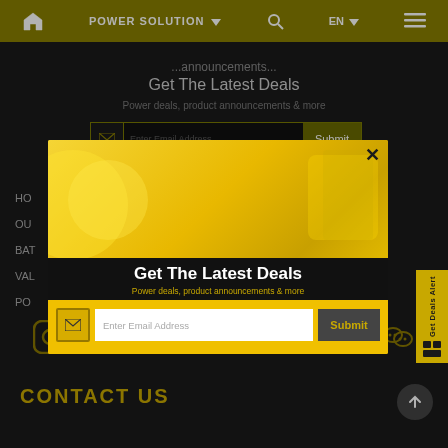🏠 POWER SOLUTION ∨  🔍  EN ∨  ≡
Get The Latest Deals
Power deals, product announcements & more
Enter Email Address  Submit
HO...
OU...
BAT...
VAL...
PO...
[Figure (screenshot): Modal popup with yellow background showing 'Get The Latest Deals' email subscription form with envelope icon, text input, and Submit button]
Get The Latest Deals
Power deals, product announcements & more
Enter Email Address  Submit
Get Deals Alert
CONTACT US